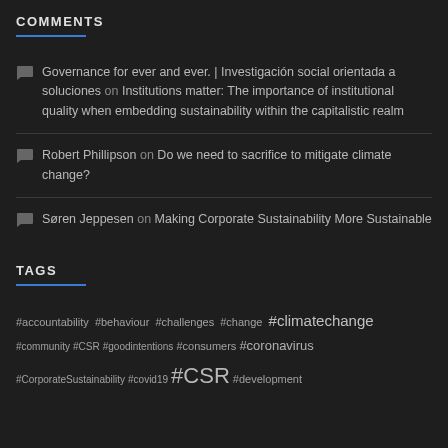COMMENTS
Governance for ever and ever. | Investigación social orientada a soluciones on Institutions matter: The importance of institutional quality when embedding sustainability within the capitalistic realm
Robert Phillipson on Do we need to sacrifice to mitigate climate change?
Søren Jeppesen on Making Corporate Sustainability More Sustainable
TAGS
#accountability #behaviour #challenges #change #climatechange #community #CSR #goodintentions #consumers #coronavirus #CorporateSustainability #covid19 #CSR #development